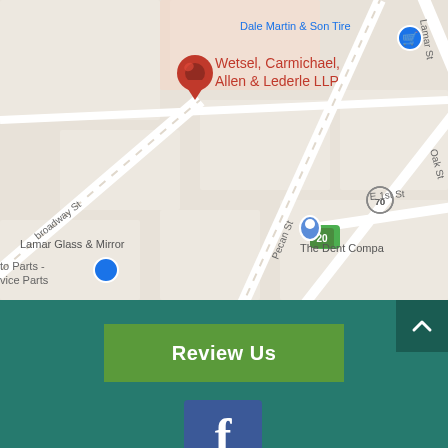[Figure (map): Google Maps screenshot showing location of Wetsel, Carmichael, Allen & Lederle LLP law firm, with nearby landmarks including Dale Martin & Son Tire, tita's mexican restaurant, Lamar Glass & Mirror, The Dent Company, and street labels including Broadway St, Lamar St, Oak St, Pecan St, E 1st St.]
Review Us
[Figure (logo): Facebook logo icon (white f on blue square background)]